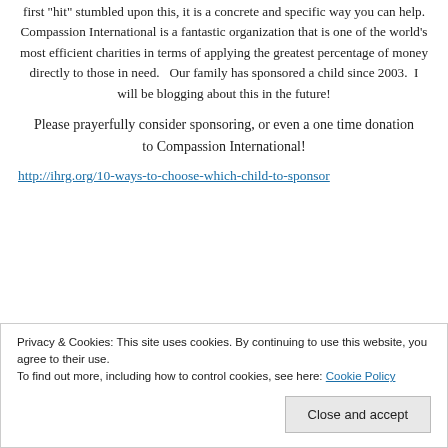first hit stumbled upon this, it is a concrete and specific way you can help. Compassion International is a fantastic organization that is one of the world's most efficient charities in terms of applying the greatest percentage of money directly to those in need.   Our family has sponsored a child since 2003.  I will be blogging about this in the future!
Please prayerfully consider sponsoring, or even a one time donation to Compassion International!
http://ihrg.org/10-ways-to-choose-which-child-to-sponsor
Privacy & Cookies: This site uses cookies. By continuing to use this website, you agree to their use.
To find out more, including how to control cookies, see here: Cookie Policy